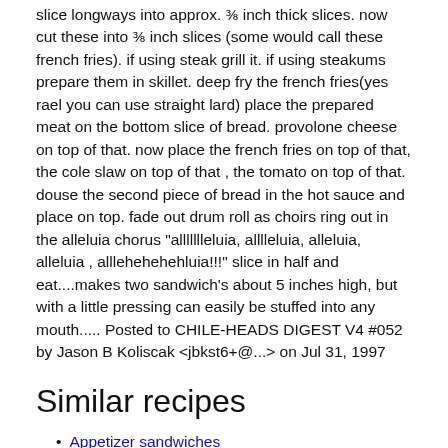slice longways into approx. ⅜ inch thick slices. now cut these into ⅜ inch slices (some would call these french fries). if using steak grill it. if using steakums prepare them in skillet. deep fry the french fries(yes rael you can use straight lard) place the prepared meat on the bottom slice of bread. provolone cheese on top of that. now place the french fries on top of that, the cole slaw on top of that , the tomato on top of that. douse the second piece of bread in the hot sauce and place on top. fade out drum roll as choirs ring out in the alleluia chorus "allllllleluia, alllleluia, alleluia, alleluia , alllehehehehluia!!!" slice in half and eat....makes two sandwich's about 5 inches high, but with a little pressing can easily be stuffed into any mouth..... Posted to CHILE-HEADS DIGEST V4 #052 by Jason B Koliscak <jbkst6+@...> on Jul 31, 1997
Similar recipes
Appetizer sandwiches
Flank steak sandwiches